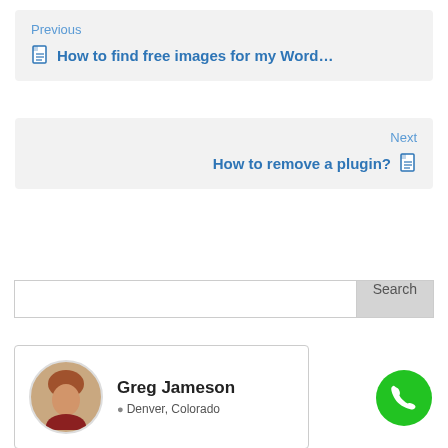Previous
How to find free images for my Word...
Next
How to remove a plugin?
Search
Greg Jameson
Denver, Colorado